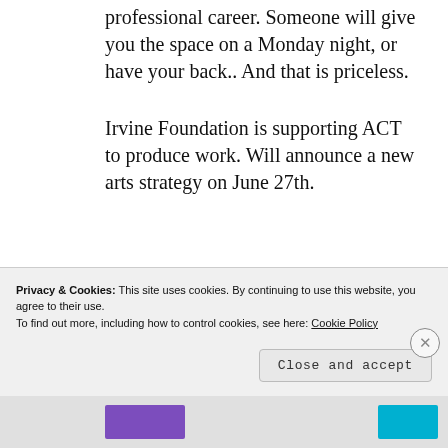professional career. Someone will give you the space on a Monday night, or have your back.. And that is priceless.
Irvine Foundation is supporting ACT to produce work. Will announce a new arts strategy on June 27th.
Question of movie with a high budget vs. Theatre with a less
Privacy & Cookies: This site uses cookies. By continuing to use this website, you agree to their use.
To find out more, including how to control cookies, see here: Cookie Policy
Close and accept